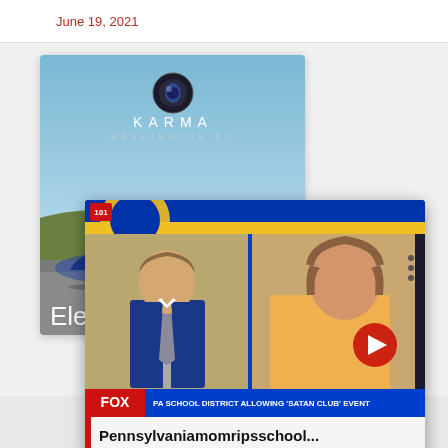June 19, 2021
[Figure (photo): Karma Automotive Washington DC promotional image showing a blue electric sports car parked outdoors with the Karma logo and brand name displayed]
[Figure (screenshot): Fox News screenshot showing a male anchor in a blue suit and a woman in a yellow top in a split screen, with chyron reading 'PA SCHOOL DISTRICT ALLOWING SATAN CLUB EVENT' and title 'Pennsylvaniamomripsschool...' with a red arrow button overlay]
PA SCHOOL DISTRICT ALLOWING 'SATAN CLUB' EVENT
Pennsylvaniamomripsschool...